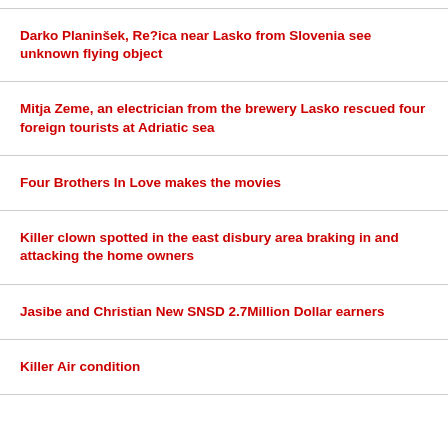Darko Planinšek, Re?ica near Lasko from Slovenia see unknown flying object
Mitja Zeme, an electrician from the brewery Lasko rescued four foreign tourists at Adriatic sea
Four Brothers In Love makes the movies
Killer clown spotted in the east disbury area braking in and attacking the home owners
Jasibe and Christian New SNSD 2.7Million Dollar earners
Killer Air condition